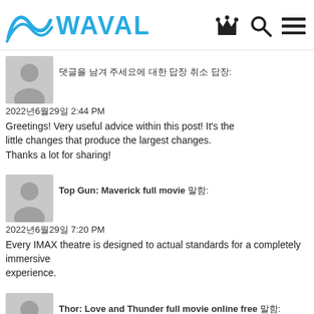WAVAL
댓글을 남겨 주세요에 대한 답장 취소 답장:
2022년6월29일 2:44 PM
Greetings! Very useful advice within this post! It's the little changes that produce the largest changes. Thanks a lot for sharing!
Top Gun: Maverick full movie 말함:
2022년6월29일 7:20 PM
Every IMAX theatre is designed to actual standards for a completely immersive experience.
Thor: Love and Thunder full movie online free 말함: